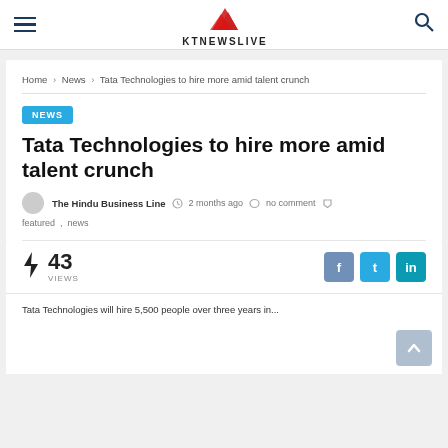KTNEWSLIVE
Home > News > Tata Technologies to hire more amid talent crunch
NEWS
Tata Technologies to hire more amid talent crunch
The Hindu Business Line  2 months ago  no comment  featured , news
43 VIEWS
Tata Technologies will hire 5,500 people over three years in...